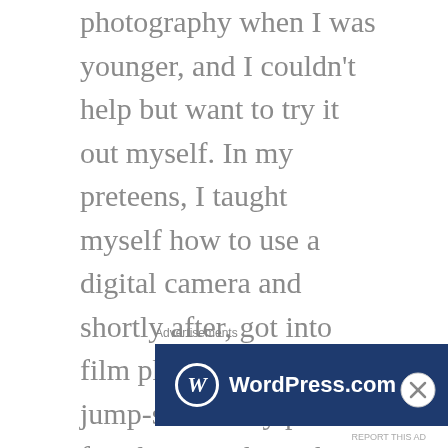photography when I was younger, and I couldn't help but want to try it out myself. In my preteens, I taught myself how to use a digital camera and shortly after, got into film photography. This jump-started my passion for photography. When I won a photography competition against a bunch of older women, at the age of 13, I became hooked. That photo is actually one of my favorite non-portraits to this day—a bumble bee on top of a flower in a Vermont garden. Now, I primarily like taking
Advertisements
[Figure (other): WordPress.com advertisement banner with logo on left and 'Build Your Website' pink button on right, dark navy background]